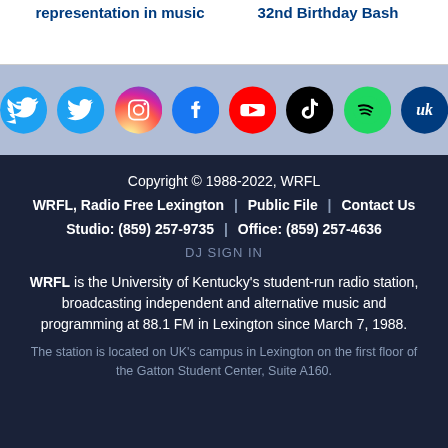representation in music
32nd Birthday Bash
[Figure (other): Social media icon buttons: Twitter, Instagram, Facebook, YouTube, TikTok, Spotify, UK (University of Kentucky)]
Copyright © 1988-2022, WRFL
WRFL, Radio Free Lexington | Public File | Contact Us
Studio: (859) 257-9735 | Office: (859) 257-4636
DJ SIGN IN
WRFL is the University of Kentucky's student-run radio station, broadcasting independent and alternative music and programming at 88.1 FM in Lexington since March 7, 1988.
The station is located on UK's campus in Lexington on the first floor of the Gatton Student Center, Suite A160.